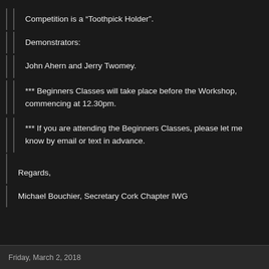Competition is a “Toothpick Holder”.
Demonstrators:
John Ahern and Jerry Twomey.
*** Beginners Classes will take place before the Workshop, commencing at 12.30pm.
*** If you are attending the Beginners Classes, please let me know by email or text in advance.
Regards,
Michael Bouchier, Secretary Cork Chapter IWG
Friday, March 2, 2018